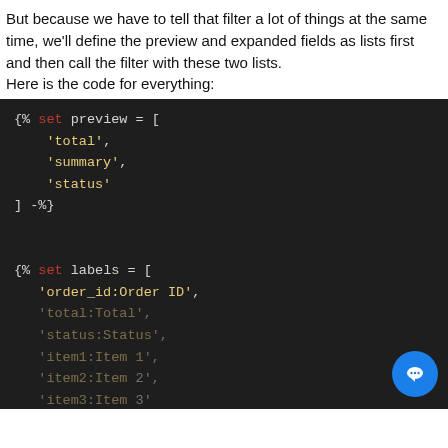But because we have to tell that filter a lot of things at the same time, we'll define the preview and expanded fields as lists first and then call the filter with these two lists.
Here is the code for everything:
[Figure (screenshot): Code block on dark background showing Jinja2 template code: {% set preview = ['total', 'summary', 'status'] -%} followed by {% set labels = ['order_id:Order ID', 'total:Total', 'status:Status', 'item1:Item 1', 'item2:Item 2', 'item3:Item 3'] -%}]
This website uses cookies to ensure you get the best experience on our website. Learn more
Got it!